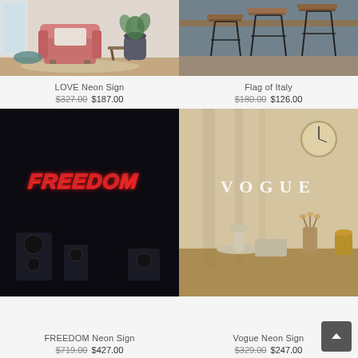[Figure (photo): Pink armchair with side table and plant in a living room]
[Figure (photo): Wooden bar stools with metal legs against grey wall]
LOVE Neon Sign
$327.00 $187.00
Flag of Italy
$180.00 $126.00
[Figure (photo): FREEDOM neon sign in red on dark background with speakers]
[Figure (photo): VOGUE text displayed in a stylish room with lamp, clock and vases]
FREEDOM Neon Sign
$719.00 $427.00
Vogue Neon Sign
$329.00 $247.00